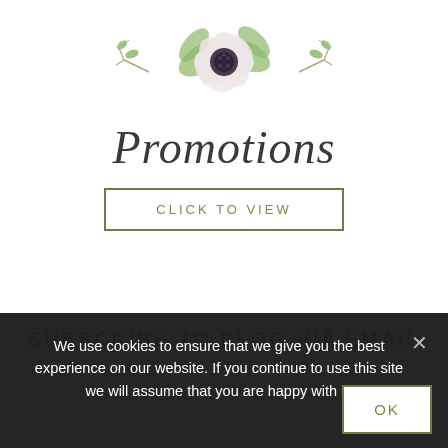[Figure (illustration): Watercolor floral illustration with a white anemone flower, green leaves, and decorative branches above the word Promotions]
Promotions
CLICK TO VIEW
SUBSCRIBE TO BLOG VIA EMAIL
We use cookies to ensure that we give you the best experience on our website. If you continue to use this site we will assume that you are happy with it.
OK